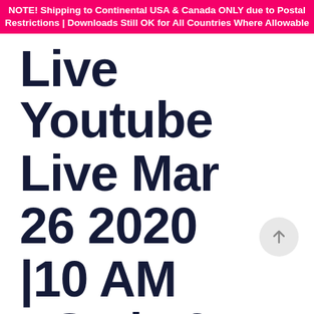NOTE! Shipping to Continental USA & Canada ONLY due to Postal Restrictions | Downloads Still OK for All Countries Where Allowable
Live Youtube Live Mar 26 2020 |10 AM PST | 12 PM CST | 1 PM EST |